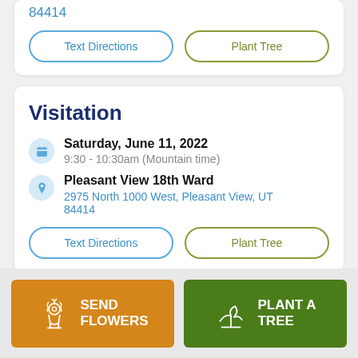84414
Text Directions
Plant Tree
Visitation
Saturday, June 11, 2022
9:30 - 10:30am (Mountain time)
Pleasant View 18th Ward
2975 North 1000 West, Pleasant View, UT 84414
Text Directions
Plant Tree
SEND FLOWERS
PLANT A TREE